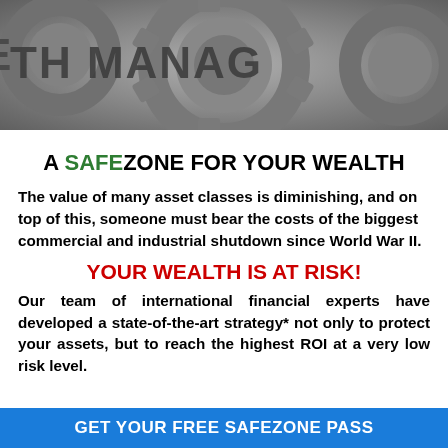[Figure (photo): Close-up photo of metallic gears with text 'TH MANAGE' embossed on them, industrial wealth management imagery]
A SAFEZONE FOR YOUR WEALTH
The value of many asset classes is diminishing, and on top of this, someone must bear the costs of the biggest commercial and industrial shutdown since World War II.
YOUR WEALTH IS AT RISK!
Our team of international financial experts have developed a state-of-the-art strategy* not only to protect your assets, but to reach the highest ROI at a very low risk level.
GET YOUR FREE SAFEZONE PASS